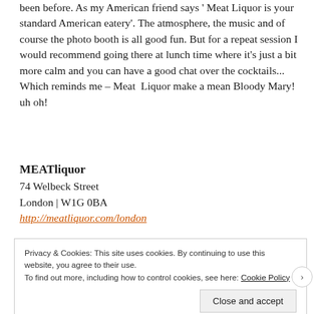been before. As my American friend says ' Meat Liquor is your standard American eatery'. The atmosphere, the music and of course the photo booth is all good fun. But for a repeat session I would recommend going there at lunch time where it's just a bit more calm and you can have a good chat over the cocktails... Which reminds me – Meat Liquor make a mean Bloody Mary! uh oh!
MEATliquor
74 Welbeck Street
London | W1G 0BA
http://meatliquor.com/london
Privacy & Cookies: This site uses cookies. By continuing to use this website, you agree to their use.
To find out more, including how to control cookies, see here: Cookie Policy
Close and accept